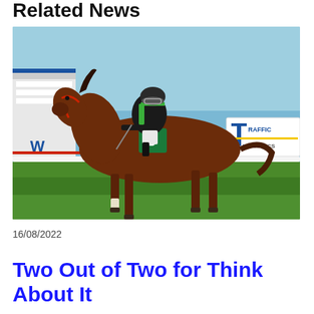Related News
[Figure (photo): A racehorse wearing number 8 saddlecloth with a jockey in black and green silks, galloping on a grass track. Advertising hoardings visible in background including 'Traffic Logistics'. Red bridle on the horse.]
16/08/2022
Two Out of Two for Think About It